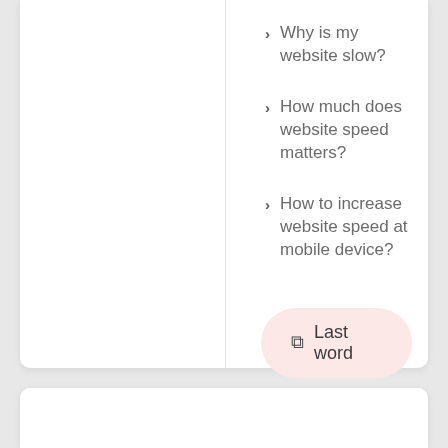Why is my website slow?
How much does website speed matters?
How to increase website speed at mobile device?
Last word
Why is site speed important?